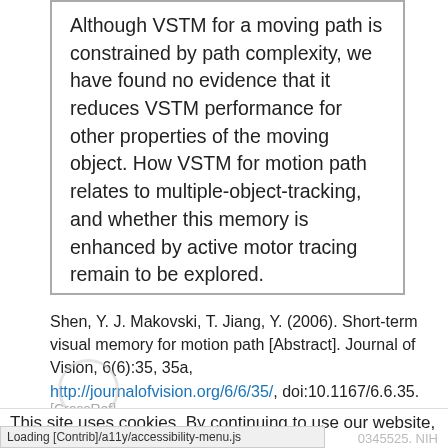Although VSTM for a moving path is constrained by path complexity, we have found no evidence that it reduces VSTM performance for other properties of the moving object. How VSTM for motion path relates to multiple-object-tracking, and whether this memory is enhanced by active motor tracing remain to be explored.
Shen, Y. J. Makovski, T. Jiang, Y. (2006). Short-term visual memory for motion path [Abstract]. Journal of Vision, 6(6):35, 35a, http://journalofvision.org/6/6/35/, doi:10.1167/6.6.35.
[CrossRef]
This site uses cookies. By continuing to use our website, you are agreeing to our privacy policy. Accept
Loading [Contrib]/a11y/accessibility-menu.js